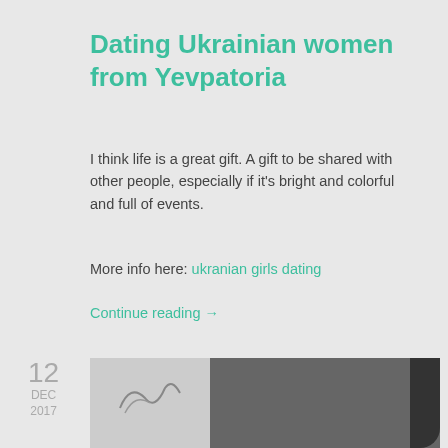Dating Ukrainian women from Yevpatoria
I think life is a great gift. A gift to be shared with other people, especially if it's bright and colorful and full of events.
More info here: ukranian girls dating
Continue reading →
Posted by CARLOS M. CAMERON in 3000S GIRLS FROM RUSSIA
12
DEC
2017
[Figure (photo): Partial photo strip showing a woman with dark hair, partially visible at the bottom of the page]